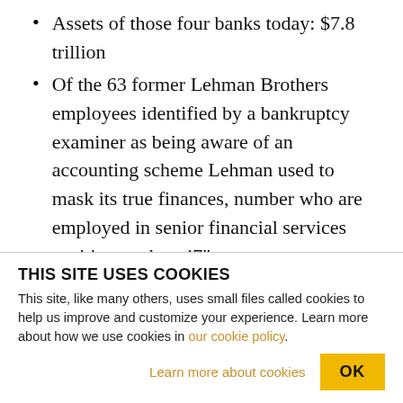Assets of those four banks today: $7.8 trillion
Of the 63 former Lehman Brothers employees identified by a bankruptcy examiner as being aware of an accounting scheme Lehman used to mask its true finances, number who are employed in senior financial services positions today: 47"
Meanwhile, the 1% on the top has done very well. AlterNet interviews Inequality experts Inequality experts Thomas Piketty and Emmanuel Saez who say we are now in the aftermath of a crisis that is being
THIS SITE USES COOKIES
This site, like many others, uses small files called cookies to help us improve and customize your experience. Learn more about how we use cookies in our cookie policy.
Learn more about cookies
OK